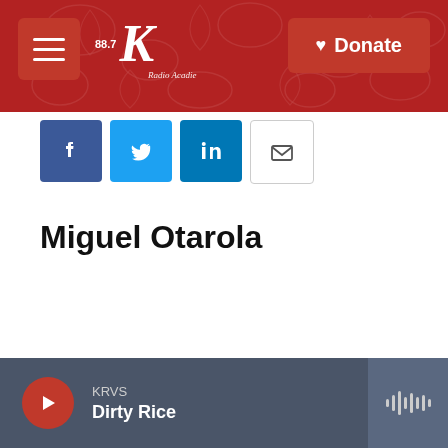[Figure (screenshot): KRVS 88.7 Radio Acadie header banner with red background and decorative floral pattern]
[Figure (other): Social media sharing icons: Facebook, Twitter, LinkedIn, Email]
Miguel Otarola
KRVS Dirty Rice